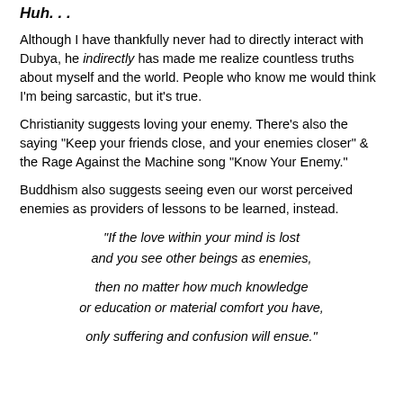Huh. . .
Although I have thankfully never had to directly interact with Dubya, he indirectly has made me realize countless truths about myself and the world. People who know me would think I'm being sarcastic, but it's true.
Christianity suggests loving your enemy. There's also the saying "Keep your friends close, and your enemies closer" & the Rage Against the Machine song "Know Your Enemy."
Buddhism also suggests seeing even our worst perceived enemies as providers of lessons to be learned, instead.
"If the love within your mind is lost and you see other beings as enemies, then no matter how much knowledge or education or material comfort you have, only suffering and confusion will ensue."